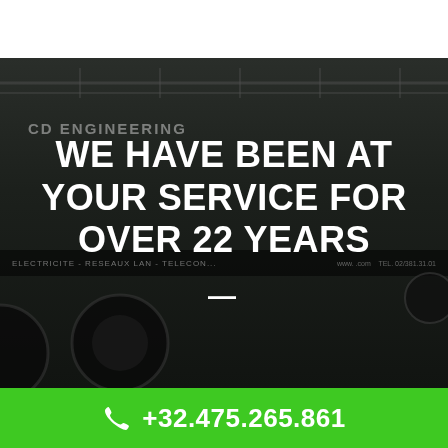[Figure (photo): Dark photo of a black van labeled 'CD ENGINEERING' with text overlay 'WE HAVE BEEN AT YOUR SERVICE FOR OVER 22 YEARS' and a horizontal dash separator. The van has a stripe reading 'ELECTRICITE - RESEAUX LAN - TELECOM...' and a phone number TEL. 02/381.31.01.]
WE HAVE BEEN AT YOUR SERVICE FOR OVER 22 YEARS
+32.475.265.861